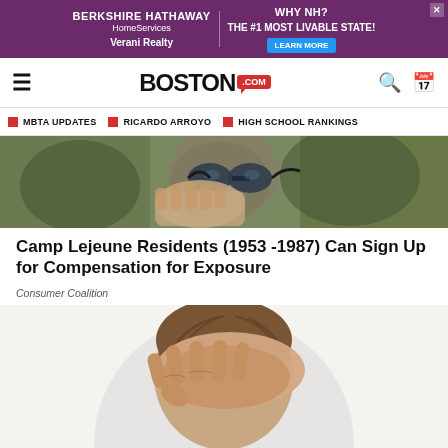[Figure (other): Berkshire Hathaway HomeServices Verani Realty advertisement banner with purple background, and 'Why NH? The #1 Most Livable State!' text with Learn More button]
BOSTON.com
MBTA UPDATES
RICARDO ARROYO
HIGH SCHOOL RANKINGS
[Figure (photo): Close-up photo of a military soldier wearing camouflage gear and goggles]
Camp Lejeune Residents (1953 -1987) Can Sign Up for Compensation for Exposure
Consumer Coalition
[Figure (illustration): Illustration of a person with head down and hand covering the back of head, suggesting distress or headache, on a light grey circular background]